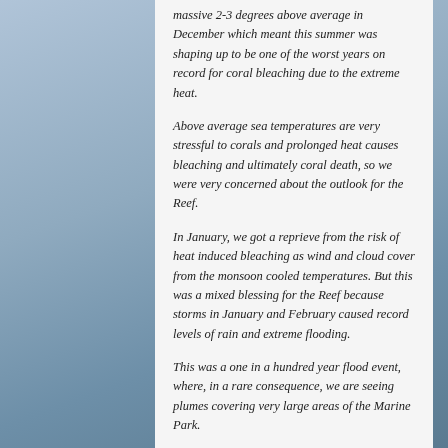massive 2-3 degrees above average in December which meant this summer was shaping up to be one of the worst years on record for coral bleaching due to the extreme heat.
Above average sea temperatures are very stressful to corals and prolonged heat causes bleaching and ultimately coral death, so we were very concerned about the outlook for the Reef.
In January, we got a reprieve from the risk of heat induced bleaching as wind and cloud cover from the monsoon cooled temperatures. But this was a mixed blessing for the Reef because storms in January and February caused record levels of rain and extreme flooding.
This was a one in a hundred year flood event, where, in a rare consequence, we are seeing plumes covering very large areas of the Marine Park.
Reply ↓